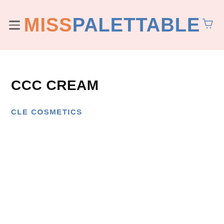MISSPALETTABLE
CCC CREAM
CLE COSMETICS